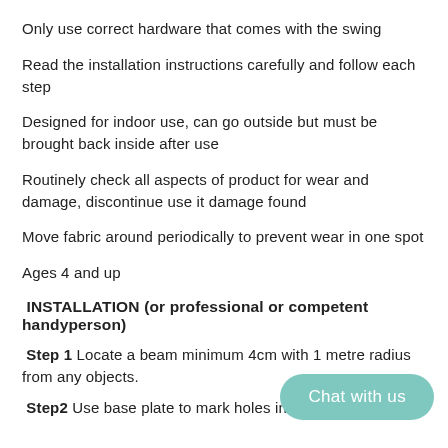Only use correct hardware that comes with the swing
Read the installation instructions carefully and follow each step
Designed for indoor use, can go outside but must be brought back inside after use
Routinely check all aspects of product for wear and damage, discontinue use it damage found
Move fabric around periodically to prevent wear in one spot
Ages 4 and up
INSTALLATION (or professional or competent handyperson)
Step 1 Locate a beam minimum 4cm with 1 metre radius from any objects.
Step2 Use base plate to mark holes in beam. Use